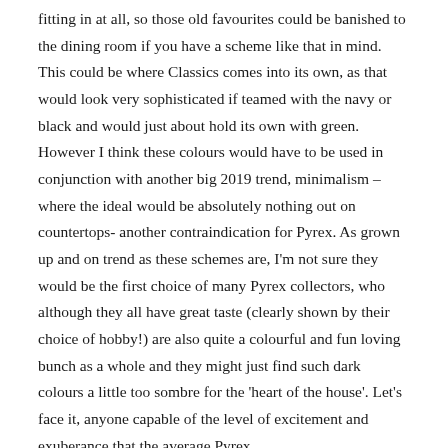fitting in at all, so those old favourites could be banished to the dining room if you have a scheme like that in mind. This could be where Classics comes into its own, as that would look very sophisticated if teamed with the navy or black and would just about hold its own with green. However I think these colours would have to be used in conjunction with another big 2019 trend, minimalism – where the ideal would be absolutely nothing out on countertops- another contraindication for Pyrex. As grown up and on trend as these schemes are, I'm not sure they would be the first choice of many Pyrex collectors, who although they all have great taste (clearly shown by their choice of hobby!) are also quite a colourful and fun loving bunch as a whole and they might just find such dark colours a little too sombre for the 'heart of the house'. Let's face it, anyone capable of the level of excitement and exuberance that the average Pyrex